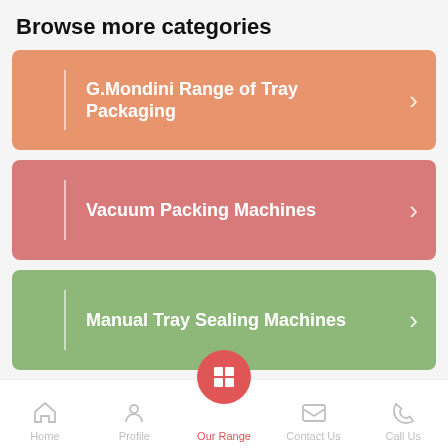Browse more categories
G.Mondini Range of Tray Packaging
Vacuum Packing Machines
Manual Tray Sealing Machines
Home | Profile | Our Range | Contact Us | Call Us